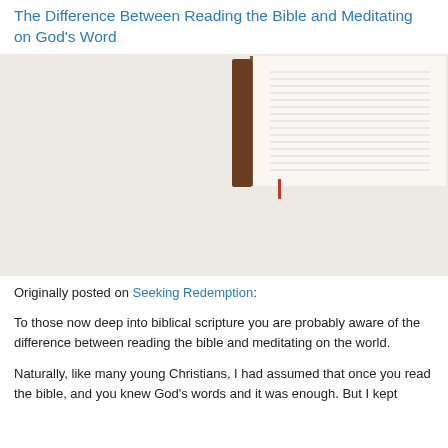The Difference Between Reading the Bible and Meditating on God's Word
[Figure (photo): Overhead view of a person's hands: one holding a teacup on a saucer, another writing in a spiral notebook with a yellow pencil. An open Bible and a smartphone are visible on a white fabric surface.]
Originally posted on Seeking Redemption:
To those now deep into biblical scripture you are probably aware of the difference between reading the bible and meditating on the world.
Naturally, like many young Christians, I had assumed that once you read the bible, and you knew God's words and it was enough. But I kept